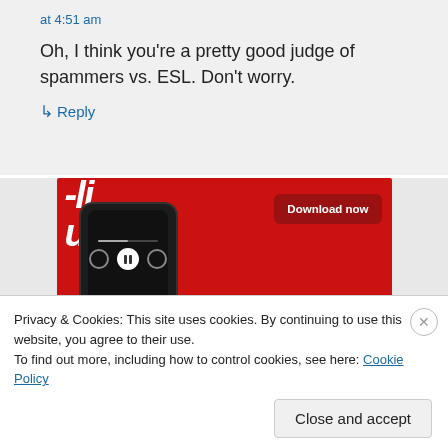at 4:51 am
Oh, I think you're a pretty good judge of spammers vs. ESL. Don't worry.
↳ Reply
[Figure (screenshot): A smartphone on a red background showing a podcast app interface with audio controls. A red 'Download now' button is visible in the top right. Partial text 'uted' visible in large white letters.]
Privacy & Cookies: This site uses cookies. By continuing to use this website, you agree to their use.
To find out more, including how to control cookies, see here: Cookie Policy
Close and accept